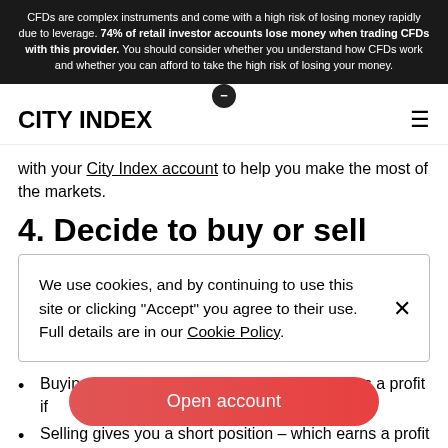CFDs are complex instruments and come with a high risk of losing money rapidly due to leverage. 74% of retail investor accounts lose money when trading CFDs with this provider. You should consider whether you understand how CFDs work and whether you can afford to take the high risk of losing your money.
CITY INDEX
with your City Index account to help you make the most of the markets.
4. Decide to buy or sell
We use cookies, and by continuing to use this site or clicking "Accept" you agree to their use. Full details are in our Cookie Policy.
Buying gives you a long position – which earns a profit if
Selling gives you a short position – which earns a profit